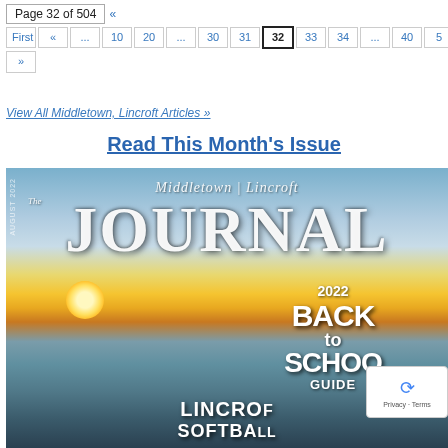Page 32 of 504  «  First  «  ...  10  20  ...  30  31  32  33  34  ...  40  5  »
View All Middletown, Lincroft Articles »
Read This Month's Issue
[Figure (photo): Magazine cover of Middletown Lincroft The JOURNAL, August 2022, showing a sunset over water. Features text: 2022 BACK to SCHOOL GUIDE and LINCROFT SOFTBALL at the bottom.]